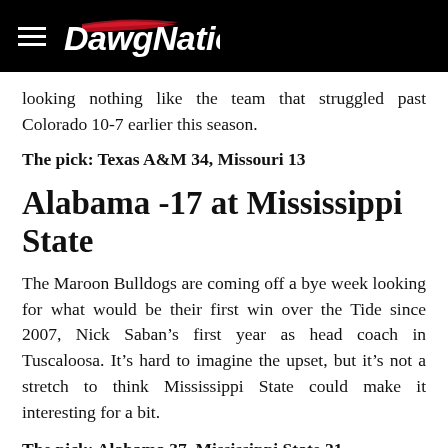DawgNation
looking nothing like the team that struggled past Colorado 10-7 earlier this season.
The pick: Texas A&M 34, Missouri 13
Alabama -17 at Mississippi State
The Maroon Bulldogs are coming off a bye week looking for what would be their first win over the Tide since 2007, Nick Saban’s first year as head coach in Tuscaloosa. It’s hard to imagine the upset, but it’s not a stretch to think Mississippi State could make it interesting for a bit.
The pick: Alabama 37, Mississippi State 21
Florida -10.5 at LSU